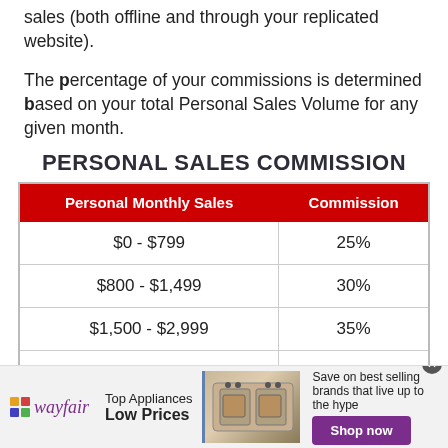sales (both offline and through your replicated website).
The percentage of your commissions is determined based on your total Personal Sales Volume for any given month.
PERSONAL SALES COMMISSION
| Personal Monthly Sales | Commission |
| --- | --- |
| $0 - $799 | 25% |
| $800 - $1,499 | 30% |
| $1,500 - $2,999 | 35% |
| $3,000 + | 40% |
[Figure (infographic): Wayfair advertisement banner: Top Appliances Low Prices, with appliance image and Shop now button]